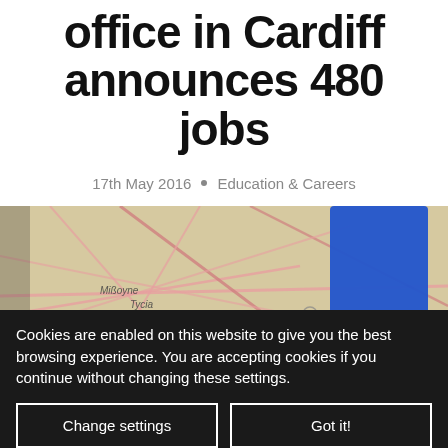office in Cardiff announces 480 jobs
17th May 2016  •  Education & Careers
[Figure (photo): A blurred map showing the South Wales area including Aberdare, Rhondda, and Mountain Ash, with a blue map pin pushed into the map.]
Cookies are enabled on this website to give you the best browsing experience. You are accepting cookies if you continue without changing these settings.
Change settings
Got it!